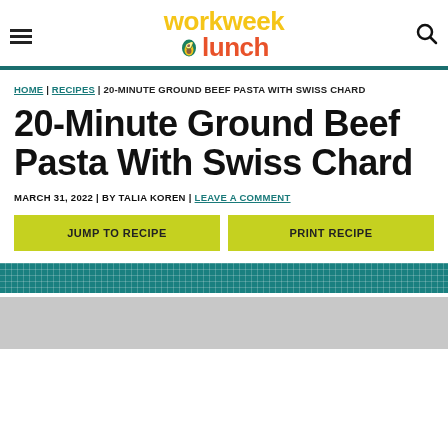workweek lunch
HOME | RECIPES | 20-MINUTE GROUND BEEF PASTA WITH SWISS CHARD
20-Minute Ground Beef Pasta With Swiss Chard
MARCH 31, 2022 | BY TALIA KOREN | LEAVE A COMMENT
JUMP TO RECIPE | PRINT RECIPE
[Figure (other): Decorative teal grid/check pattern strip]
[Figure (photo): Food photo placeholder (partially visible, gray)]